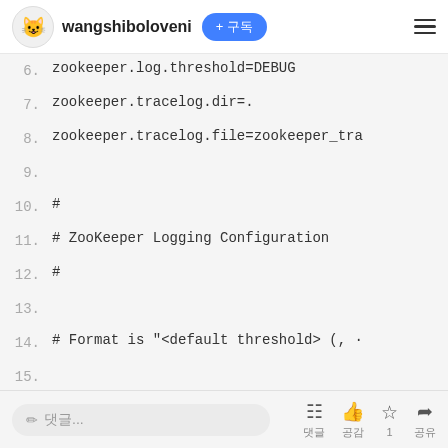wangshiboloveni + 구독
6.  zookeeper.log.threshold=DEBUG
7.  zookeeper.tracelog.dir=.
8.  zookeeper.tracelog.file=zookeeper_tra
9.
10. #
11. # ZooKeeper Logging Configuration
12. #
13.
14. # Format is "<default threshold> (, ·
15.
16. # DEFAULT: console appender only
17. log4j.rootLogger=${zookeeper.root.lo(
✏ 댓글...  댓글  공감  1  공유